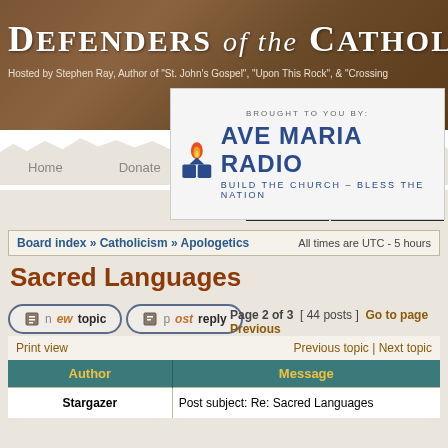Defenders of the Catholic Faith — Hosted by Stephen Ray, Author of "St. John's Gospel", "Upon This Rock", & "Crossing"
[Figure (logo): Ave Maria Radio banner — BROUGHT TO YOU BY: AVE MARIA RADIO BUILD THE CHURCH-BLESS THE NATION]
Home   Donate   FAQ
LOGIN   REGISTER
Board index » Catholicism » Apologetics   All times are UTC - 5 hours
Sacred Languages
new topic   post reply   Page 2 of 3  [ 44 posts ]  Go to page Previous
Print view   Previous topic | Next topic
| Author | Message |
| --- | --- |
| Stargazer | Post subject: Re: Sacred Languages |